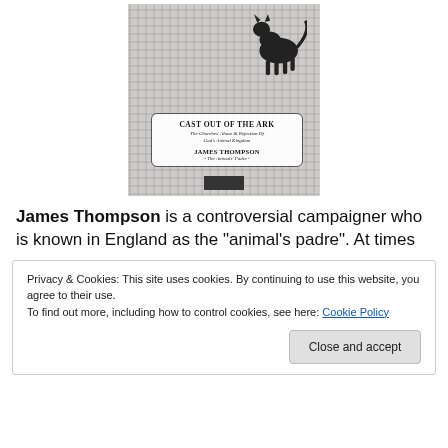[Figure (illustration): Book cover image for 'Cast Out of the Ark' by James Thompson - The Animals' Padre. Shows a black and white photograph of animals (cat/goat) on stone walls, with a title box overlay.]
James Thompson is a controversial campaigner who is known in England as the "animal's padre". At times
Privacy & Cookies: This site uses cookies. By continuing to use this website, you agree to their use.
To find out more, including how to control cookies, see here: Cookie Policy
[Close and accept]